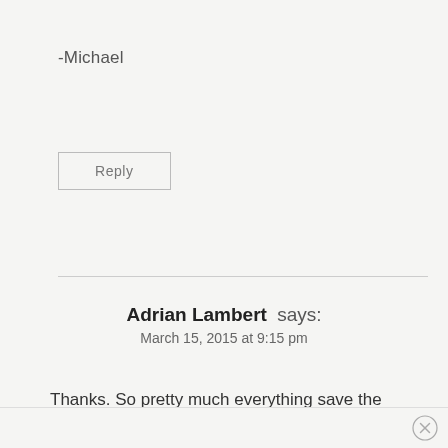-Michael
Reply
Adrian Lambert says:
March 15, 2015 at 9:15 pm
Thanks. So pretty much everything save the basic backup settings aren't implemented from the client?